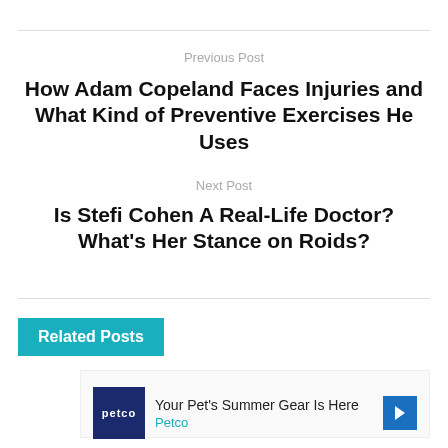Previous Post
How Adam Copeland Faces Injuries and What Kind of Preventive Exercises He Uses
Next Post
Is Stefi Cohen A Real-Life Doctor? What's Her Stance on Roids?
Related Posts
[Figure (other): Advertisement banner for Petco: 'Your Pet's Summer Gear Is Here' with Petco logo and navigation arrow]